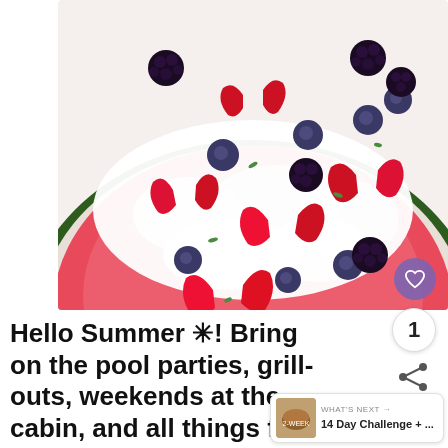[Figure (photo): A halved watermelon used as a bowl, topped with whipped cream, strawberries, blueberries, and blackberries, presented on a white surface.]
Hello Summer ✳! Bring on the pool parties, grill-outs, weekends at the cabin, and all things fun in the s
WHAT'S NEXT → 14 Day Challenge + ...